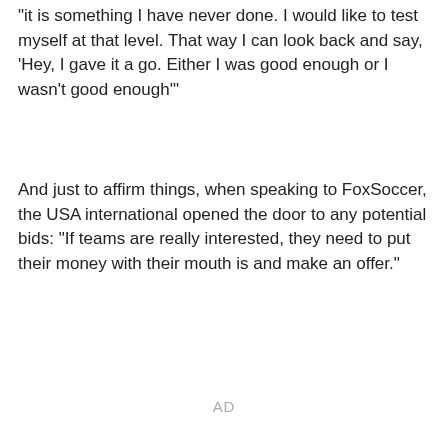"it is something I have never done. I would like to test myself at that level. That way I can look back and say, 'Hey, I gave it a go. Either I was good enough or I wasn't good enough'"
And just to affirm things, when speaking to FoxSoccer, the USA international opened the door to any potential bids: "If teams are really interested, they need to put their money with their mouth is and make an offer."
AD